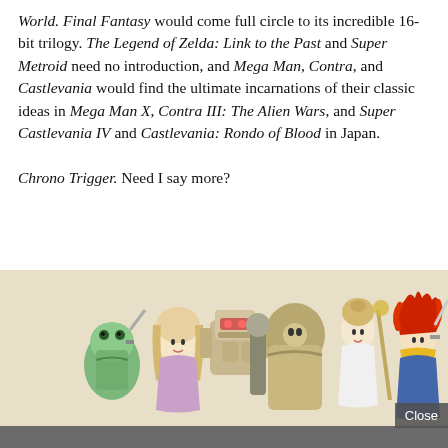World. Final Fantasy would come full circle to its incredible 16-bit trilogy. The Legend of Zelda: Link to the Past and Super Metroid need no introduction, and Mega Man, Contra, and Castlevania would find the ultimate incarnations of their classic ideas in Mega Man X, Contra III: The Alien Wars, and Super Castlevania IV and Castlevania: Rondo of Blood in Japan.

Chrono Trigger. Need I say more?
[Figure (illustration): Group illustration of Chrono Trigger characters including a frog knight, a female mage, a robot, a large armored figure, a girl in white, and Crono with spiky red hair, on a cream/tan background. A 'Close' button appears in the bottom right corner.]